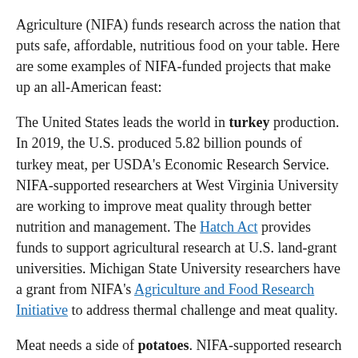Agriculture (NIFA) funds research across the nation that puts safe, affordable, nutritious food on your table. Here are some examples of NIFA-funded projects that make up an all-American feast:
The United States leads the world in turkey production. In 2019, the U.S. produced 5.82 billion pounds of turkey meat, per USDA's Economic Research Service. NIFA-supported researchers at West Virginia University are working to improve meat quality through better nutrition and management. The Hatch Act provides funds to support agricultural research at U.S. land-grant universities. Michigan State University researchers have a grant from NIFA's Agriculture and Food Research Initiative to address thermal challenge and meat quality.
Meat needs a side of potatoes. NIFA-supported research at the Universities of Minnesota, Wisconsin and Idaho